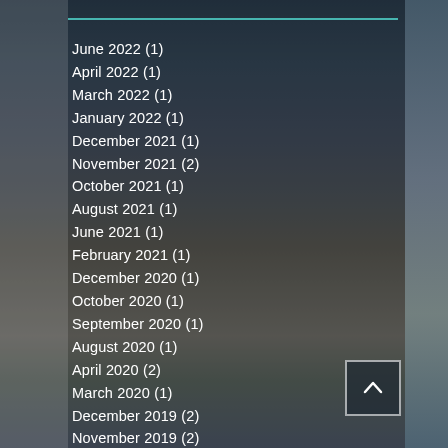June 2022 (1)
April 2022 (1)
March 2022 (1)
January 2022 (1)
December 2021 (1)
November 2021 (2)
October 2021 (1)
August 2021 (1)
June 2021 (1)
February 2021 (1)
December 2020 (1)
October 2020 (1)
September 2020 (1)
August 2020 (1)
April 2020 (2)
March 2020 (1)
December 2019 (2)
November 2019 (2)
September 2019 (1)
June 2019 (1)